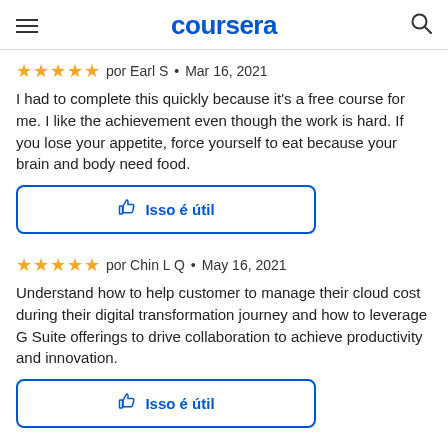coursera
★★★★★  por Earl S • Mar 16, 2021
I had to complete this quickly because it's a free course for me. I like the achievement even though the work is hard. If you lose your appetite, force yourself to eat because your brain and body need food.
👍 Isso é útil
★★★★★  por Chin L Q • May 16, 2021
Understand how to help customer to manage their cloud cost during their digital transformation journey and how to leverage G Suite offerings to drive collaboration to achieve productivity and innovation.
👍 Isso é útil